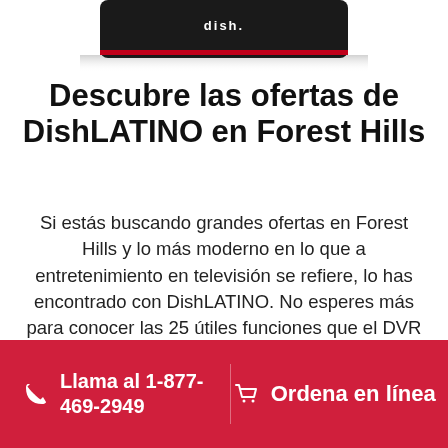[Figure (photo): Partial view of a DISH branded device/remote at the top of the page, cropped]
Descubre las ofertas de DishLATINO en Forest Hills
Si estás buscando grandes ofertas en Forest Hills y lo más moderno en lo que a entretenimiento en televisión se refiere, lo has encontrado con DishLATINO. No esperes más para conocer las 25 útiles funciones que el DVR inteligente Hopper 3® te proporciona, incluyendo hasta 500 horas de grabaciones de televisión y más. 65 canales. A buen...
Llama al 1-877-469-2949
Ordena en línea